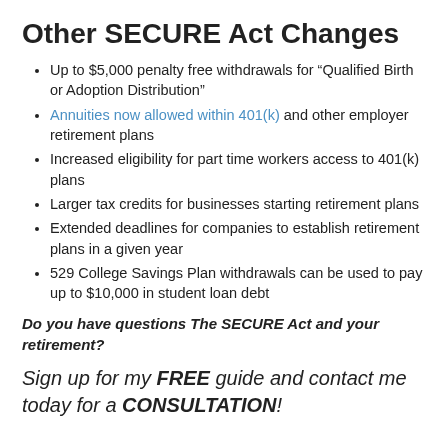Other SECURE Act Changes
Up to $5,000 penalty free withdrawals for “Qualified Birth or Adoption Distribution”
Annuities now allowed within 401(k) and other employer retirement plans
Increased eligibility for part time workers access to 401(k) plans
Larger tax credits for businesses starting retirement plans
Extended deadlines for companies to establish retirement plans in a given year
529 College Savings Plan withdrawals can be used to pay up to $10,000 in student loan debt
Do you have questions The SECURE Act and your retirement?
Sign up for my FREE guide and contact me today for a CONSULTATION!